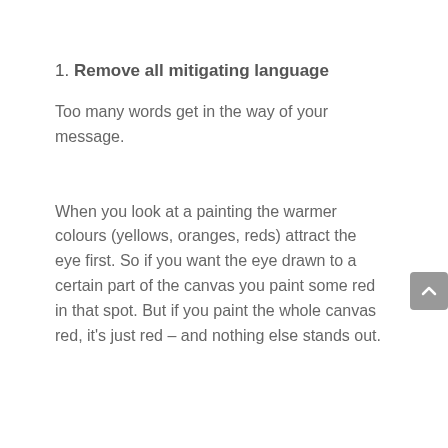1. Remove all mitigating language
Too many words get in the way of your message.
When you look at a painting the warmer colours (yellows, oranges, reds) attract the eye first. So if you want the eye drawn to a certain part of the canvas you paint some red in that spot. But if you paint the whole canvas red, it's just red – and nothing else stands out.